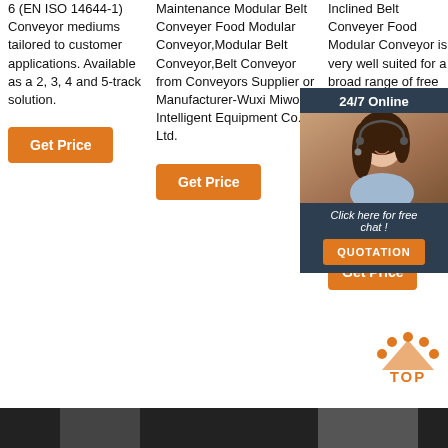6 (EN ISO 14644-1) Conveyor mediums tailored to customer applications. Available as a 2, 3, 4 and 5-track solution.
Get Price
Maintenance Modular Belt Conveyer Food Modular Conveyor,Modular Belt Conveyor,Belt Conveyor from Conveyors Supplier or Manufacturer-Wuxi Miwo Intelligent Equipment Co., Ltd.
Get Price
Inclined Belt Conveyer Food Modular Conveyor is very well suited for a broad range of free flowing products including food, animal feed, pharmaceutical, cosmetics, chemicals, such as snack foods, frozen foods, vegetables, fruits, nuts, confec
Get Price
[Figure (infographic): Chat widget overlay with '24/7 Online' header, agent photo, 'Click here for free chat!' text, and 'QUOTATION' orange button]
[Figure (infographic): TOP icon with orange dots and orange TOP text]